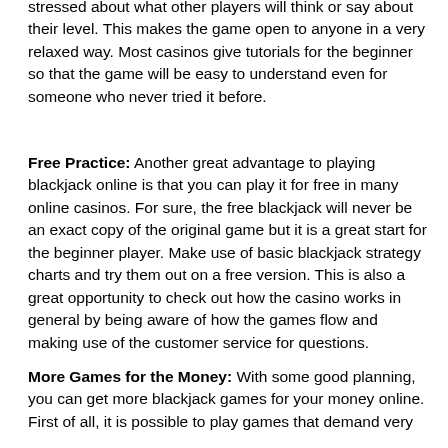stressed about what other players will think or say about their level. This makes the game open to anyone in a very relaxed way. Most casinos give tutorials for the beginner so that the game will be easy to understand even for someone who never tried it before.
Free Practice: Another great advantage to playing blackjack online is that you can play it for free in many online casinos. For sure, the free blackjack will never be an exact copy of the original game but it is a great start for the beginner player. Make use of basic blackjack strategy charts and try them out on a free version. This is also a great opportunity to check out how the casino works in general by being aware of how the games flow and making use of the customer service for questions.
More Games for the Money: With some good planning, you can get more blackjack games for your money online. First of all, it is possible to play games that demand very small bets that make it less expensive to stay at the game the